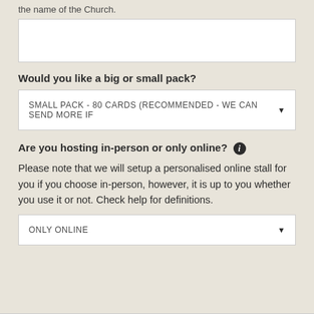the name of the Church.
[text input box]
Would you like a big or small pack?
SMALL PACK - 80 CARDS (RECOMMENDED - WE CAN SEND MORE IF ▼
Are you hosting in-person or only online? ℹ
Please note that we will setup a personalised online stall for you if you choose in-person, however, it is up to you whether you use it or not. Check help for definitions.
ONLY ONLINE ▼